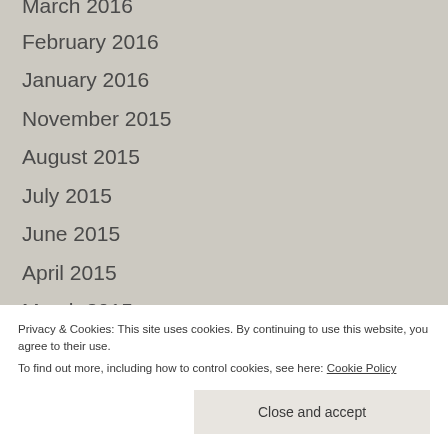March 2016
February 2016
January 2016
November 2015
August 2015
July 2015
June 2015
April 2015
March 2015
February 2015
January 2015
October 2014
Privacy & Cookies: This site uses cookies. By continuing to use this website, you agree to their use.
To find out more, including how to control cookies, see here: Cookie Policy
Close and accept
November 2013